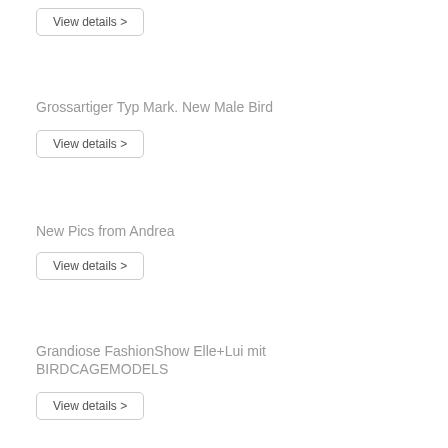View details >
Grossartiger Typ Mark. New Male Bird
View details >
New Pics from Andrea
View details >
Grandiose FashionShow Elle+Lui mit BIRDCAGEMODELS
View details >